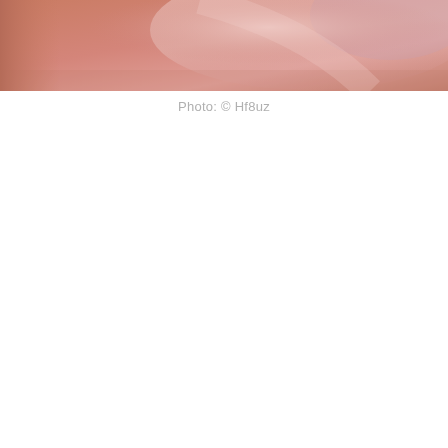[Figure (photo): Close-up photo with warm peachy-pink and salmon tones, abstract blurred surface with soft highlights, cropped at top of page.]
Photo: © Hf8uz